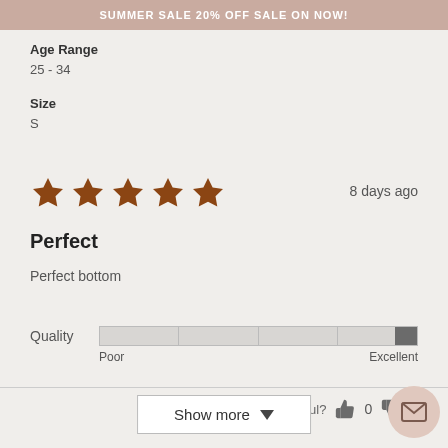SUMMER SALE 20% OFF SALE ON NOW!
Age Range
25 - 34
Size
S
[Figure (other): 5 filled brown star rating icons]
8 days ago
Perfect
Perfect bottom
Quality  Poor  Excellent (slider bar near Excellent end)
Was this helpful? 0  0
Show more